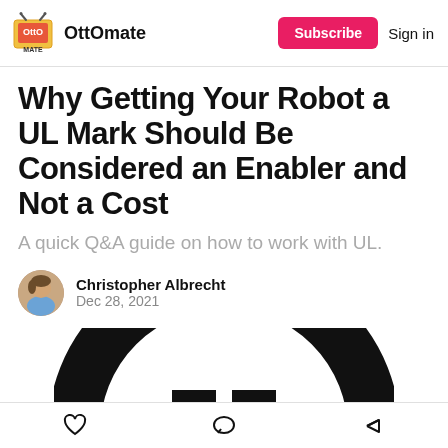OttOmate — Subscribe | Sign in
Why Getting Your Robot a UL Mark Should Be Considered an Enabler and Not a Cost
A quick Q&A guide on how to work with UL.
Christopher Albrecht
Dec 28, 2021
[Figure (logo): UL certification mark — large black arc (horseshoe shape) with two black rectangles beneath it, partially cropped at bottom of page]
Action bar with heart (like), comment, and share icons